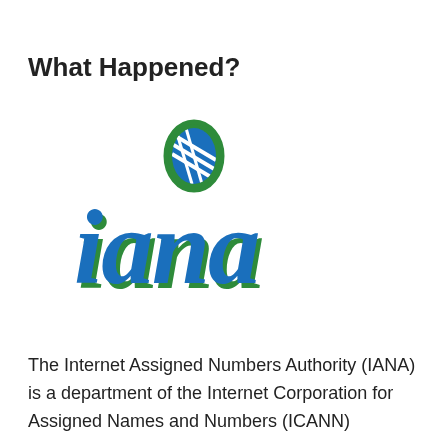What Happened?
[Figure (logo): IANA (Internet Assigned Numbers Authority) logo with a globe icon above the stylized italic text 'iana' in blue and green colors]
The Internet Assigned Numbers Authority (IANA) is a department of the Internet Corporation for Assigned Names and Numbers (ICANN)